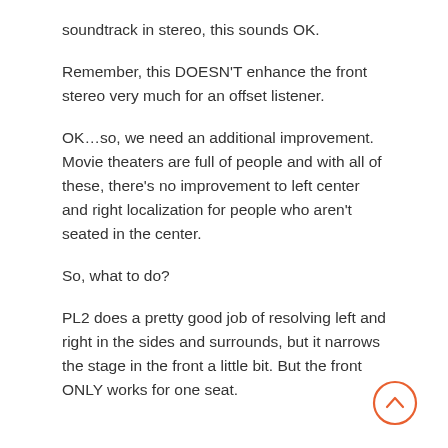soundtrack in stereo, this sounds OK.
Remember, this DOESN'T enhance the front stereo very much for an offset listener.
OK…so, we need an additional improvement. Movie theaters are full of people and with all of these, there's no improvement to left center and right localization for people who aren't seated in the center.
So, what to do?
PL2 does a pretty good job of resolving left and right in the sides and surrounds, but it narrows the stage in the front a little bit. But the front ONLY works for one seat.